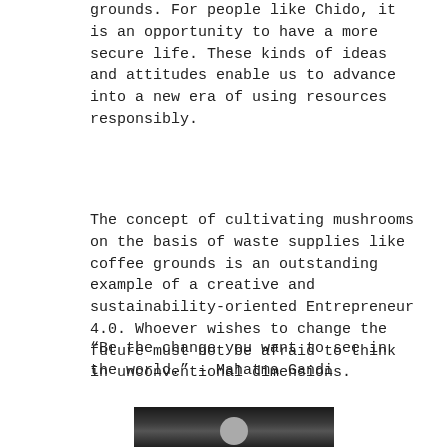grounds. For people like Chido, it is an opportunity to have a more secure life. These kinds of ideas and attitudes enable us to advance into a new era of using resources responsibly.
The concept of cultivating mushrooms on the basis of waste supplies like coffee grounds is an outstanding example of a creative and sustainability-oriented Entrepreneur 4.0. Whoever wishes to change the future must not be afraid to think in unconventional dimensions.
“Be the change you want to see in the world.” – Mahatma Gandi
[Figure (photo): Partial photo showing a dark background with a small circular highlight at the top center, appearing to be the top of a person's head.]